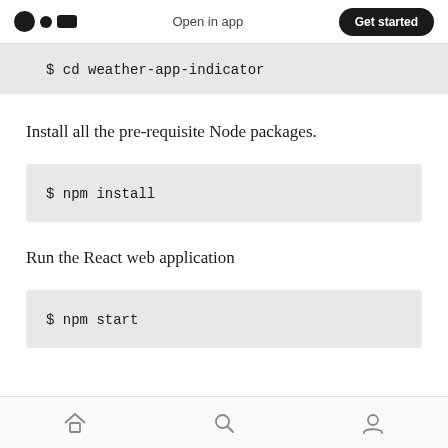Open in app  Get started
$ cd weather-app-indicator
Install all the pre-requisite Node packages.
$ npm install
Run the React web application
$ npm start
Home  Search  Profile